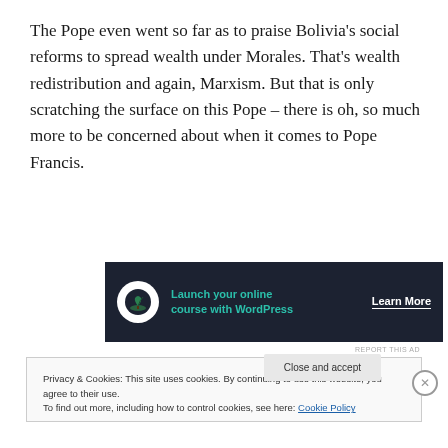The Pope even went so far as to praise Bolivia's social reforms to spread wealth under Morales. That's wealth redistribution and again, Marxism. But that is only scratching the surface on this Pope – there is oh, so much more to be concerned about when it comes to Pope Francis.
[Figure (other): Advertisement banner with dark background: icon of a tree, teal text 'Launch your online course with WordPress', white 'Learn More' button link]
REPORT THIS AD
Privacy & Cookies: This site uses cookies. By continuing to use this website, you agree to their use.
To find out more, including how to control cookies, see here: Cookie Policy
Close and accept